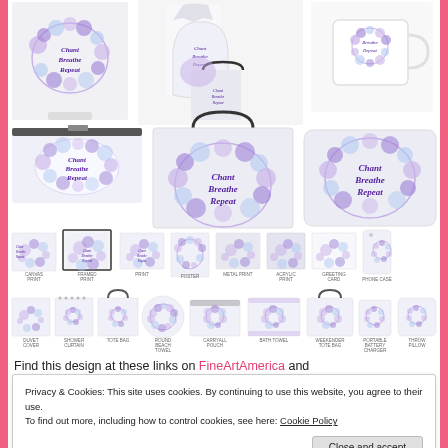[Figure (screenshot): Product grid showing 'Chant Breathe Repeat' design on various merchandise: canvas print, framed print, print, poster, metal print, acrylic print, greeting card, phone case in row 3; duvet cover, shower curtain, tote bag, round beach towel, carryall pouch, bath towel, weekender tote bag, portable battery charger, throw pillow in row 4. Above these, larger product images of shower curtain/duvet, dress/tote bag, mug, makeup bag, tote bag, pillow. Purple floral watercolor wreath design on white background.]
Find this design at these links on FineArtAmerica and
Privacy & Cookies: This site uses cookies. By continuing to use this website, you agree to their use.
To find out more, including how to control cookies, see here: Cookie Policy
Close and accept